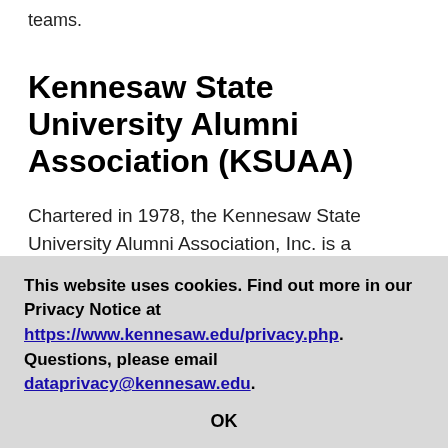teams.
Kennesaw State University Alumni Association (KSUAA)
Chartered in 1978, the Kennesaw State University Alumni Association, Inc. is a nonprofit, educational corporation. The association places particular emphasis on and
This website uses cookies. Find out more in our Privacy Notice at https://www.kennesaw.edu/privacy.php. Questions, please email dataprivacy@kennesaw.edu.
OK